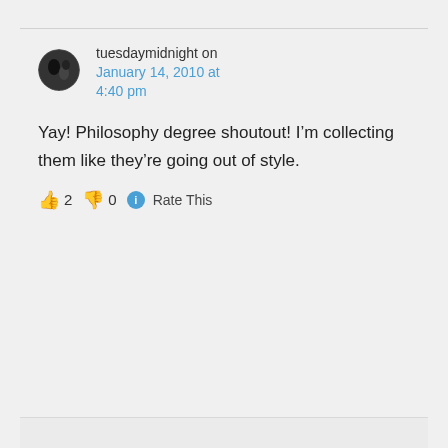tuesdaymidnight on January 14, 2010 at 4:40 pm
Yay! Philosophy degree shoutout! I'm collecting them like they're going out of style.
👍 2 👎 0 ℹ Rate This